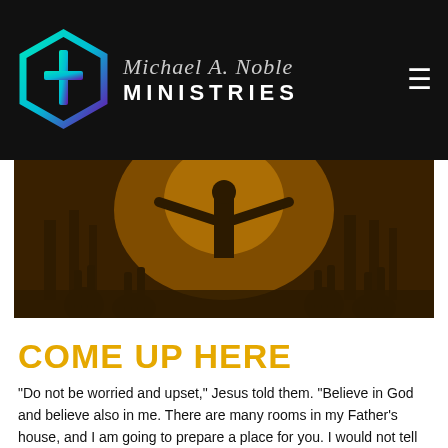[Figure (logo): Michael A. Noble Ministries logo with hexagon cross icon in teal-to-purple gradient and text 'Michael A. Noble MINISTRIES' on dark background with hamburger menu icon]
[Figure (photo): Sepia/golden-toned photo of silhouettes of people with hands raised in worship, with a central figure with arms outstretched and trees in background]
COME UP HERE
“Do not be worried and upset,” Jesus told them. “Believe in God and believe also in me. There are many rooms in my Father’s house, and I am going to prepare a place for you. I would not tell you this if it were not so. And after I go and prepare a place for you, I will come back and take you to myself, so that you will be